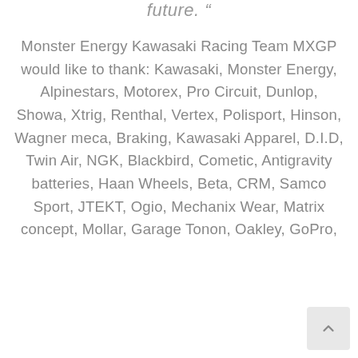future. "
Monster Energy Kawasaki Racing Team MXGP would like to thank: Kawasaki, Monster Energy, Alpinestars, Motorex, Pro Circuit, Dunlop, Showa, Xtrig, Renthal, Vertex, Polisport, Hinson, Wagner meca, Braking, Kawasaki Apparel, D.I.D, Twin Air, NGK, Blackbird, Cometic, Antigravity batteries, Haan Wheels, Beta, CRM, Samco Sport, JTEKT, Ogio, Mechanix Wear, Matrix concept, Mollar, Garage Tonon, Oakley, GoPro,